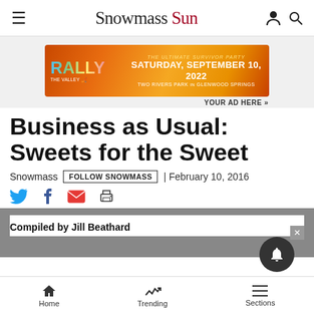Snowmass Sun
[Figure (screenshot): Rally the Valley advertisement banner: The Ultimate Survivor Party, Saturday September 10 2022, Two Rivers Park in Glenwood Springs]
YOUR AD HERE »
Business as Usual: Sweets for the Sweet
Snowmass  FOLLOW SNOWMASS  | February 10, 2016
Compiled by Jill Beathard
Home  Trending  Sections